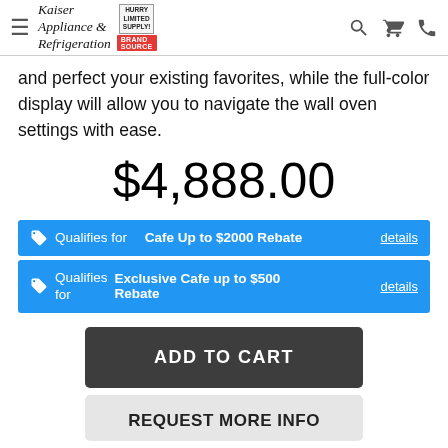Kaiser Appliance & Refrigeration — navigation header
and perfect your existing favorites, while the full-color display will allow you to navigate the wall oven settings with ease.
$4,888.00
Qualifies for Cafe Up to $2000 Rebate details
Qualifies for Exclusive Cafe up to $500 Rebate details
ADD TO CART
REQUEST MORE INFO